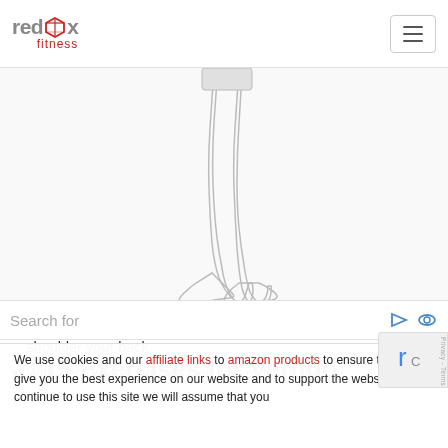[Figure (logo): Redbox Fitness logo with grey text and red cube icon and red 'fitness' subtitle]
[Figure (illustration): Line drawing illustration of lower legs and bare feet, partially cropped, showing two feet stepping forward on white background]
Place your hand on a table with your palm facing up and shoulder your back.
With bent knees, square step forward with the (text cut off)
Search for
1. 15 Exercises for Vertigo (partially visible)
We use cookies and our affiliate links to amazon products to ensure that we give you the best experience on our website and to support the website. If you continue to use this site we will assume that you (cut off)